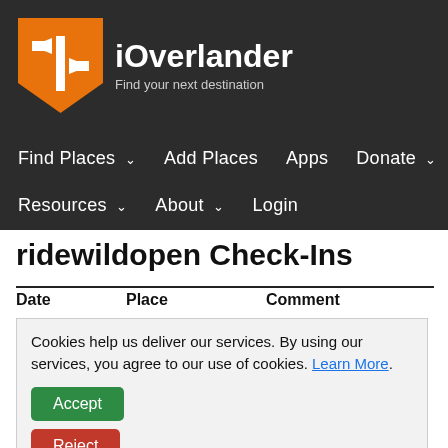[Figure (logo): iOverlander orange shield logo with white directional signs icon]
iOverlander
Find your next destination
Find Places ∨   Add Places   Apps   Donate ∨
Resources ∨   About ∨   Login
ridewildopen Check-Ins
| Date | Place | Comment |
| --- | --- | --- |
Cookies help us deliver our services. By using our services, you agree to our use of cookies. Learn More.
Accept
Reject